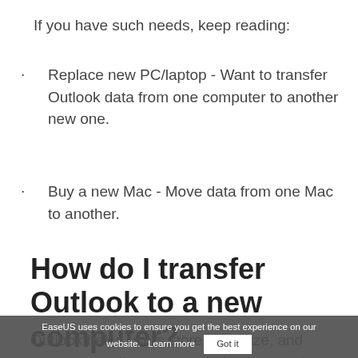If you have such needs, keep reading:
Replace new PC/laptop - Want to transfer Outlook data from one computer to another new one.
Buy a new Mac - Move data from one Mac to another.
How do I transfer Outlook to a new computer?
Outlook helps users store, organize, and manage emails, contacts, calendars, tasks, and notes in the context of new
EaseUS uses cookies to ensure you get the best experience on our website.  Learn more   Got it